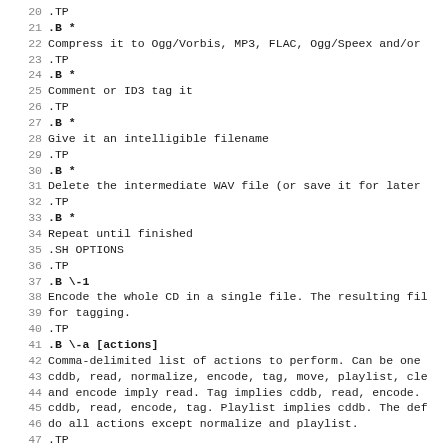19 .TP a track from your CD
20 .TP
21 .B *
22 Compress it to Ogg/Vorbis, MP3, FLAC, Ogg/Speex and/or
23 .TP
24 .B *
25 Comment or ID3 tag it
26 .TP
27 .B *
28 Give it an intelligible filename
29 .TP
30 .B *
31 Delete the intermediate WAV file (or save it for later
32 .TP
33 .B *
34 Repeat until finished
35 .SH OPTIONS
36 .TP
37 .B \-1
38 Encode the whole CD in a single file. The resulting fil
39 for tagging.
40 .TP
41 .B \-a [actions]
42 Comma-delimited list of actions to perform. Can be one
43 cddb, read, normalize, encode, tag, move, playlist, cle
44 and encode imply read. Tag implies cddb, read, encode.
45 cddb, read, encode, tag. Playlist implies cddb. The def
46 do all actions except normalize and playlist.
47 .TP
48 .B \-b
49 Enable batch mode normalization. See the BATCH configur
50 .TP
51 .B \-c [filename]